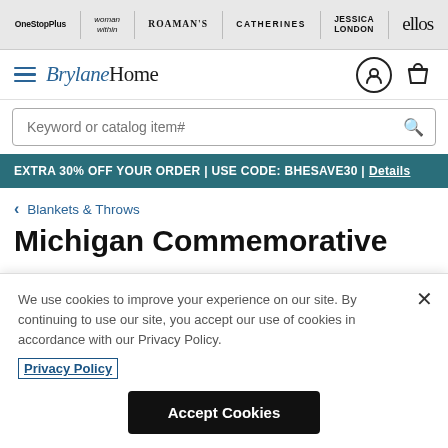OneStopPlus | woman within | ROAMAN'S | CATHERINES | JESSICA LONDON | ellos
[Figure (logo): BrylaneHome logo with hamburger menu, user icon, and shopping bag icon]
Keyword or catalog item#
EXTRA 30% OFF YOUR ORDER | USE CODE: BHESAVE30 | Details
< Blankets & Throws
Michigan Commemorative
We use cookies to improve your experience on our site. By continuing to use our site, you accept our use of cookies in accordance with our Privacy Policy.
Privacy Policy
Accept Cookies